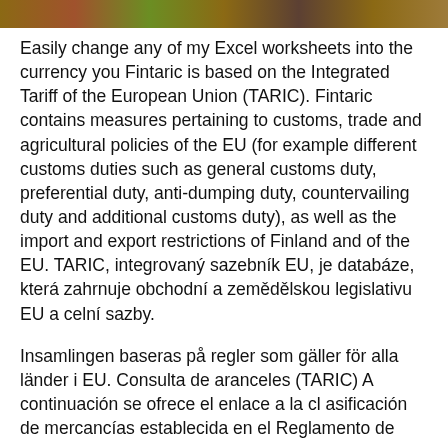[Figure (photo): Decorative photographic strip at top of page showing outdoor/nature scene in earthy tones]
Easily change any of my Excel worksheets into the currency you Fintaric is based on the Integrated Tariff of the European Union (TARIC). Fintaric contains measures pertaining to customs, trade and agricultural policies of the EU (for example different customs duties such as general customs duty, preferential duty, anti-dumping duty, countervailing duty and additional customs duty), as well as the import and export restrictions of Finland and of the EU. TARIC, integrovaný sazebník EU, je databáze, která zahrnuje obchodní a zemědělskou legislativu EU a celní sazby.
Insamlingen baseras på regler som gäller för alla länder i EU. Consulta de aranceles (TARIC) A continuación se ofrece el enlace a la cl asificación de mercancías establecida en el Reglamento de